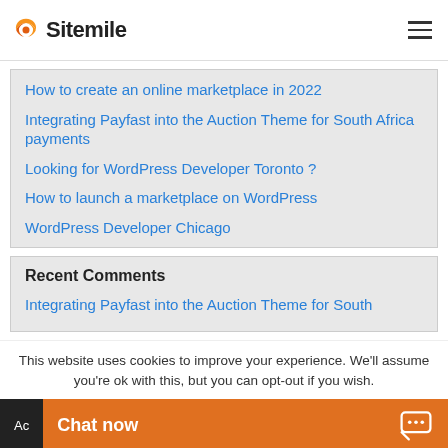Sitemile
How to create an online marketplace in 2022
Integrating Payfast into the Auction Theme for South Africa payments
Looking for WordPress Developer Toronto ?
How to launch a marketplace on WordPress
WordPress Developer Chicago
Recent Comments
Integrating Payfast into the Auction Theme for South
This website uses cookies to improve your experience. We'll assume you're ok with this, but you can opt-out if you wish.
Chat now